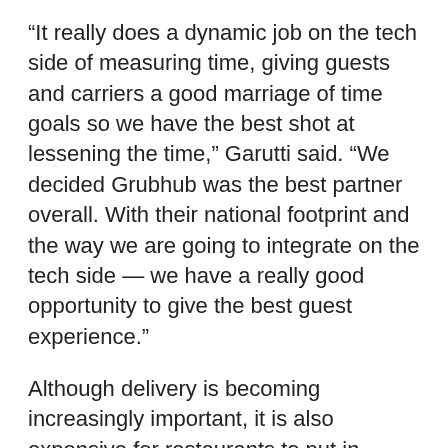“It really does a dynamic job on the tech side of measuring time, giving guests and carriers a good marriage of time goals so we have the best shot at lessening the time,” Garutti said. “We decided Grubhub was the best partner overall. With their national footprint and the way we are going to integrate on the tech side — we have a really good opportunity to give the best guest experience.”
Although delivery is becoming increasingly important, it is also expensive for restaurants to put in place. The partnership allowed for the best revenue opportunity for guests and both businesses, Garutti said.
“In the old days, the power was in the restaurants’ hands to tell you how you could get there — what I love about this is we’ve put all the power in the guests’ hands, which is exactly what hospitality should be about — now however you want it, where you want it, you get it. And that is